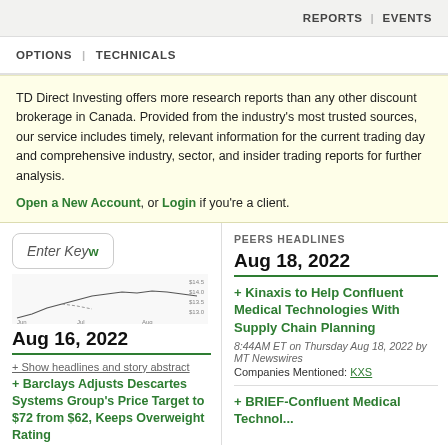REPORTS | EVENTS
OPTIONS | TECHNICALS
TD Direct Investing offers more research reports than any other discount brokerage in Canada. Provided from the industry's most trusted sources, our service includes timely, relevant information for the current trading day and comprehensive industry, sector, and insider trading reports for further analysis.

Open a New Account, or Login if you're a client.
[Figure (screenshot): Enter Keyword search box with a small stock chart below it]
Aug 16, 2022
+ Show headlines and story abstract
+ Barclays Adjusts Descartes Systems Group's Price Target to $72 from $62, Keeps Overweight Rating
PEERS HEADLINES
Aug 18, 2022
+ Kinaxis to Help Confluent Medical Technologies With Supply Chain Planning
8:44AM ET on Thursday Aug 18, 2022 by MT Newswires
Companies Mentioned: KXS
+ BRIEF-Confluent Medical Technologies Selects Kinaxis...